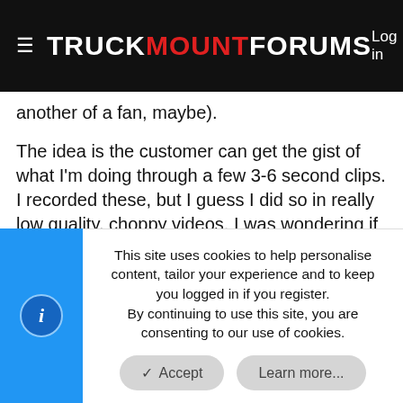TRUCKMOUNTFORUMS — Log in
another of a fan, maybe).
The idea is the customer can get the gist of what I'm doing through a few 3-6 second clips. I recorded these, but I guess I did so in really low quality, choppy videos. I was wondering if anyone had and was willing to let me use a short clip of any of these things. The most important of which being the CRB, since mine's still waiting to be shipped so I can't record myself with it. I would just go and rerecord myself, but my trailer's out getting wrapped and I'm paying someone to build the website, and if I take too long getting the clips, I won't be able to get them on the site.
This site uses cookies to help personalise content, tailor your experience and to keep you logged in if you register.
By continuing to use this site, you are consenting to our use of cookies.